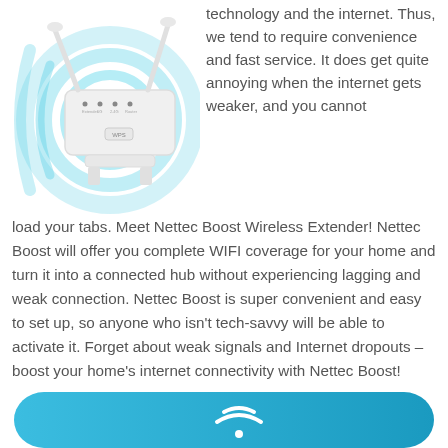[Figure (illustration): White WiFi range extender/router device with two antennas and teal/cyan circular signal waves radiating behind it, on white background.]
technology and the internet. Thus, we tend to require convenience and fast service. It does get quite annoying when the internet gets weaker, and you cannot load your tabs. Meet Nettec Boost Wireless Extender! Nettec Boost will offer you complete WIFI coverage for your home and turn it into a connected hub without experiencing lagging and weak connection. Nettec Boost is super convenient and easy to set up, so anyone who isn't tech-savvy will be able to activate it. Forget about weak signals and Internet dropouts – boost your home's internet connectivity with Nettec Boost!
[Figure (illustration): Teal/blue rounded rectangle button with a WiFi signal icon in the center, partially visible at the bottom of the page.]